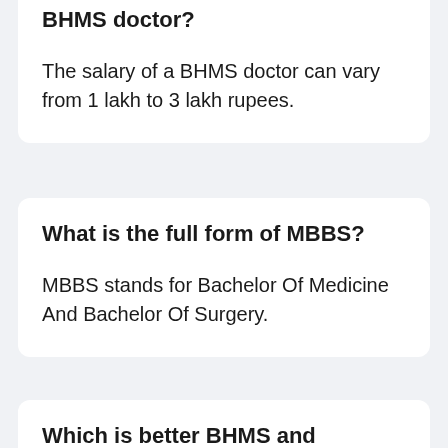BHMS doctor?
The salary of a BHMS doctor can vary from 1 lakh to 3 lakh rupees.
What is the full form of MBBS?
MBBS stands for Bachelor Of Medicine And Bachelor Of Surgery.
Which is better BHMS and